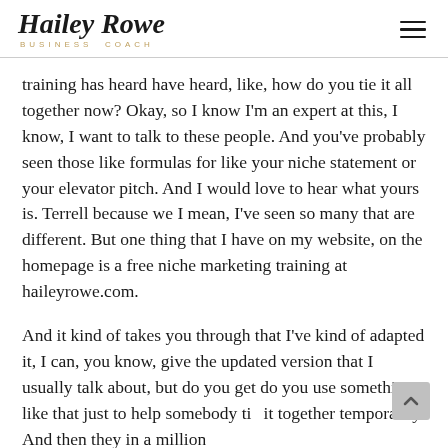Hailey Rowe Business Coach
training has heard have heard, like, how do you tie it all together now? Okay, so I know I'm an expert at this, I know, I want to talk to these people. And you've probably seen those like formulas for like your niche statement or your elevator pitch. And I would love to hear what yours is. Terrell because we I mean, I've seen so many that are different. But one thing that I have on my website, on the homepage is a free niche marketing training at haileyrowe.com.
And it kind of takes you through that I've kind of adapted it, I can, you know, give the updated version that I usually talk about, but do you get do you use something like that just to help somebody tie it together temporarily. And then they in a million